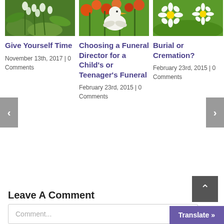[Figure (photo): White lily of the valley flowers on green background]
[Figure (photo): White bird (stork/duck) among orange flowers and green stems]
[Figure (photo): White daisy flowers with yellow centers on green background]
Give Yourself Time
November 13th, 2017  |  0 Comments
Choosing a Funeral Director for a Child's or Teenager's Funeral
February 23rd, 2015  |  0 Comments
Burial or Cremation?
February 23rd, 2015  |  0 Comments
Leave A Comment
Comment...
Translate »